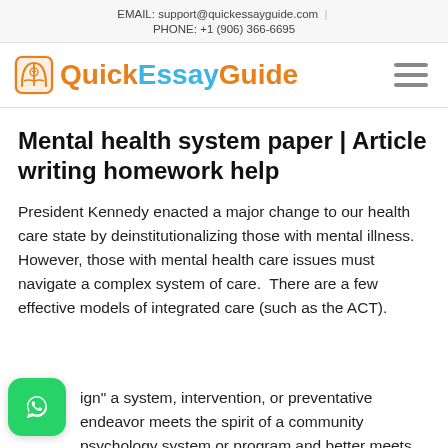EMAIL: support@quickessayguide.com | PHONE: +1 (906) 366-6695
[Figure (logo): QuickEssayGuide logo with book icon. 'Quick' and 'Guide' in orange, 'Essay' in blue.]
Mental health system paper | Article writing homework help
President Kennedy enacted a major change to our health care state by deinstitutionalizing those with mental illness. However, those with mental health care issues must navigate a complex system of care.  There are a few effective models of integrated care (such as the ACT).
sign" a system, intervention, or preventative endeavor meets the spirit of a community psychology system or program and better meets the needs of our citizens